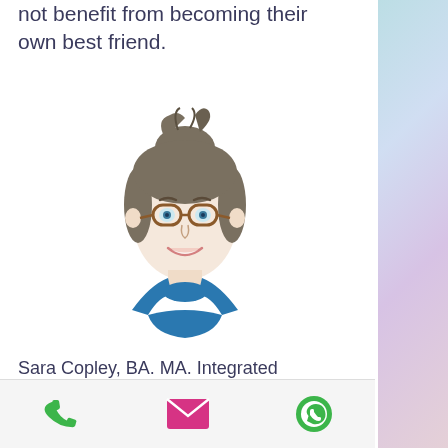not benefit from becoming their own best friend.
[Figure (illustration): Cartoon avatar of a woman with hair in a bun, wearing round glasses and a blue turtleneck, smiling]
Sara Copley, BA. MA. Integrated Mindfulness and Compassion In Professional Practice teacher.